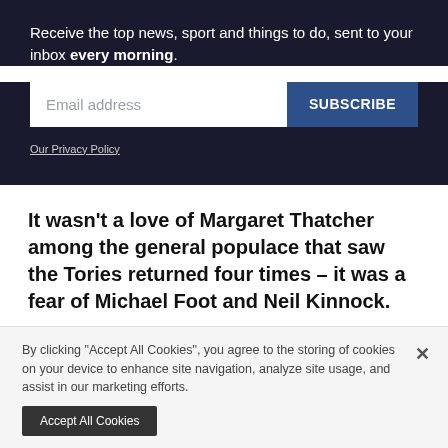Receive the top news, sport and things to do, sent to your inbox every morning.
[Figure (other): Email subscription form with email address input field and SUBSCRIBE button]
Our Privacy Policy
It wasn't a love of Margaret Thatcher among the general populace that saw the Tories returned four times – it was a fear of Michael Foot and Neil Kinnock.
And it wasn't Tony Blair that the more socialist Tony Blair...
By clicking "Accept All Cookies", you agree to the storing of cookies on your device to enhance site navigation, analyze site usage, and assist in our marketing efforts.